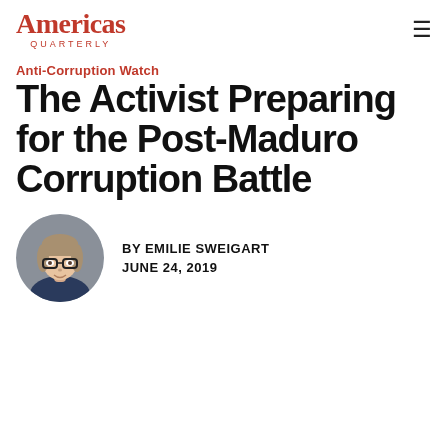Americas Quarterly
Anti-Corruption Watch
The Activist Preparing for the Post-Maduro Corruption Battle
[Figure (photo): Circular headshot photo of Emilie Sweigart, a woman with glasses and light hair pulled back, wearing a dark top.]
BY EMILIE SWEIGART
JUNE 24, 2019